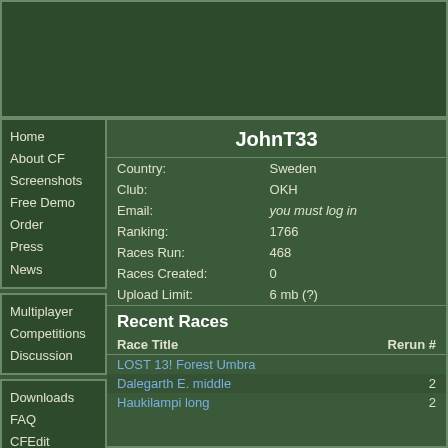[Figure (other): Banner/advertisement area at top of page, dark green background]
Home
About CF
Screenshots
Free Demo
Order
Press
News
Multiplayer
Competitions
Discussion
Downloads
FAQ
CFEdit
OcadConvert
The Library
JohnT33
|  |  |
| --- | --- |
| Country: | Sweden |
| Club: | OKH |
| Email: | you must log in |
| Ranking: | 1766 |
| Races Run: | 468 |
| Races Created: | 0 |
| Upload Limit: | 6 mb (?) |
Recent Races
| Race Title | Rerun # |
| --- | --- |
| LOST 13! Forest Umbra |  |
| Dalegarth E. middle | 2 |
| Haukilampi long | 2 |